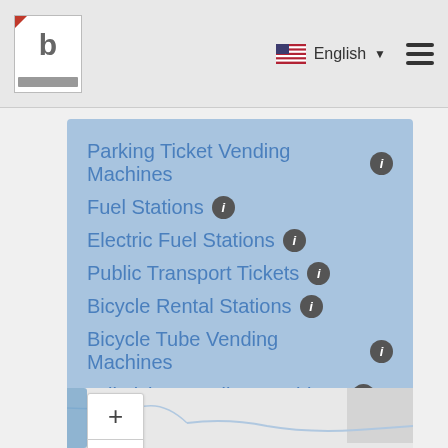b | English ▼ ☰
Parking Ticket Vending Machines ℹ
Fuel Stations ℹ
Electric Fuel Stations ℹ
Public Transport Tickets ℹ
Bicycle Rental Stations ℹ
Bicycle Tube Vending Machines ℹ
Toll Ticket Vending Machines ℹ
[Figure (map): Interactive map with zoom in, zoom out, and fullscreen controls on the left side. Map shows roads and terrain in light grey tones.]